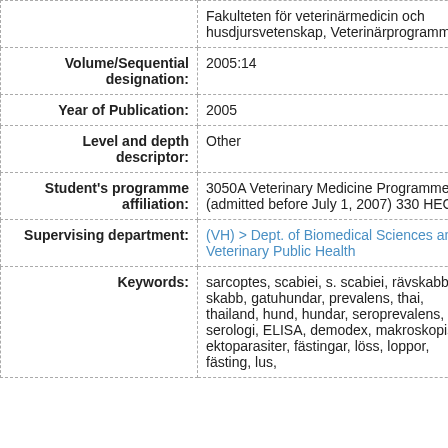| Field | Value |
| --- | --- |
|  | Fakulteten för veterinärmedicin och husdjursvetenskap, Veterinärprogrammet |
| Volume/Sequential designation: | 2005:14 |
| Year of Publication: | 2005 |
| Level and depth descriptor: | Other |
| Student's programme affiliation: | 3050A Veterinary Medicine Programme (admitted before July 1, 2007) 330 HEC |
| Supervising department: | (VH) > Dept. of Biomedical Sciences and Veterinary Public Health |
| Keywords: | sarcoptes, scabiei, s. scabiei, rävskabb, skabb, gatuhundar, prevalens, thai, thailand, hund, hundar, seroprevalens, serologi, ELISA, demodex, makroskopiska ektoparasiter, fästingar, löss, loppor, fästing, lus, |